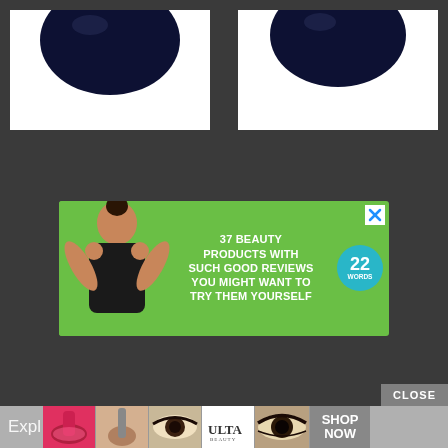[Figure (photo): Two product images of dark navy nail polish bottles on white backgrounds, side by side, with dark grey border.]
[Figure (infographic): Green advertisement banner: '37 BEAUTY PRODUCTS WITH SUCH GOOD REVIEWS YOU MIGHT WANT TO TRY THEM YOURSELF' with a woman smiling and a blue '22 WORDS' badge, on dark background.]
[Figure (infographic): Bottom navigation bar showing makeup thumbnail images, Ulta Beauty logo, and SHOP NOW button, with CLOSE button above.]